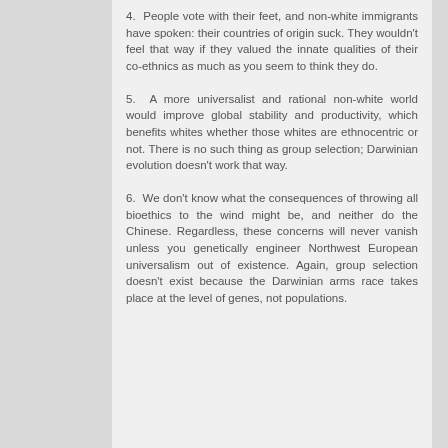4.  People vote with their feet, and non-white immigrants have spoken: their countries of origin suck. They wouldn't feel that way if they valued the innate qualities of their co-ethnics as much as you seem to think they do.
5.  A more universalist and rational non-white world would improve global stability and productivity, which benefits whites whether those whites are ethnocentric or not. There is no such thing as group selection; Darwinian evolution doesn't work that way.
6.  We don't know what the consequences of throwing all bioethics to the wind might be, and neither do the Chinese. Regardless, these concerns will never vanish unless you genetically engineer Northwest European universalism out of existence. Again, group selection doesn't exist because the Darwinian arms race takes place at the level of genes, not populations.